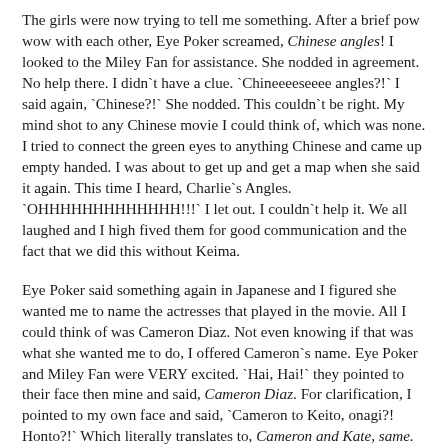The girls were now trying to tell me something. After a brief pow wow with each other, Eye Poker screamed, Chinese angles! I looked to the Miley Fan for assistance. She nodded in agreement. No help there. I didn`t have a clue. `Chineeeeseeee angles?!` I said again, `Chinese?!` She nodded. This couldn`t be right. My mind shot to any Chinese movie I could think of, which was none. I tried to connect the green eyes to anything Chinese and came up empty handed. I was about to get up and get a map when she said it again. This time I heard, Charlie`s Angles. `OHHHHHHHHHHHHH!!!` I let out. I couldn`t help it. We all laughed and I high fived them for good communication and the fact that we did this without Keima.
Eye Poker said something again in Japanese and I figured she wanted me to name the actresses that played in the movie. All I could think of was Cameron Diaz. Not even knowing if that was what she wanted me to do, I offered Cameron`s name. Eye Poker and Miley Fan were VERY excited. `Hai, Hai!` they pointed to their face then mine and said, Cameron Diaz. For clarification, I pointed to my own face and said, `Cameron to Keito, onagi?! Honto?!` Which literally translates to, Cameron and Kate, same. Really?! I didn`t know the word for face so that significant part of